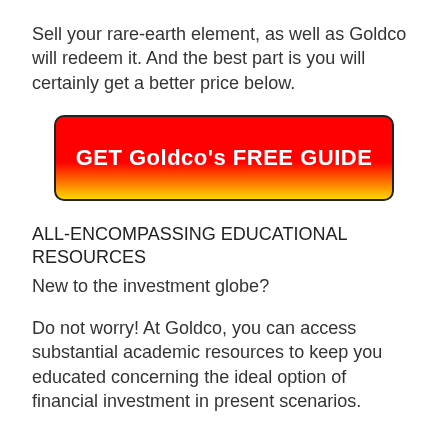Sell your rare-earth element, as well as Goldco will redeem it. And the best part is you will certainly get a better price below.
[Figure (other): Red-to-gold gradient call-to-action button with text 'GET Goldco's FREE GUIDE']
ALL-ENCOMPASSING EDUCATIONAL RESOURCES
New to the investment globe?
Do not worry! At Goldco, you can access substantial academic resources to keep you educated concerning the ideal option of financial investment in present scenarios.